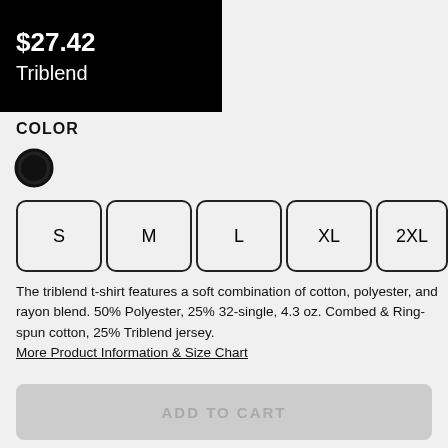$27.42
Triblend
COLOR
[Figure (other): Black circle color swatch with outer ring border indicating selected color]
S
M
L
XL
2XL
The triblend t-shirt features a soft combination of cotton, polyester, and rayon blend. 50% Polyester, 25% 32-single, 4.3 oz. Combed & Ring-spun cotton, 25% Triblend jersey.
More Product Information & Size Chart
ADD TO CART
About the Design
Promise, prosperity, auspiciousness...and metal.